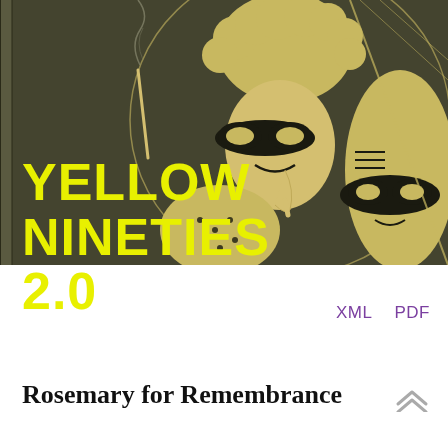[Figure (illustration): Art Nouveau style illustration showing two masked figures (wearing black domino masks) with yellow/golden tones on a dark olive-green background. The left figure has elaborate curly hair and a cigarette with smoke rising. Both figures are drawn in a decorative 1890s style. Text overlay reads YELLOW NINETIES 2.0 in large yellow bold letters.]
YELLOW NINETIES 2.0
XML   PDF
Rosemary for Remembrance